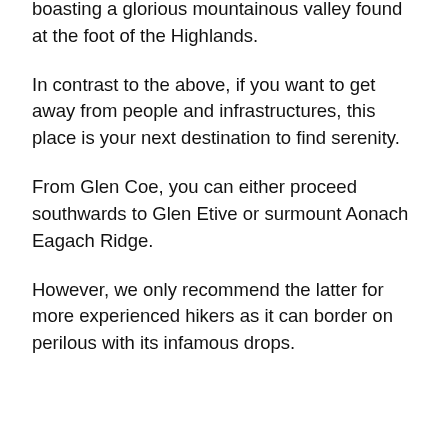Glen Coe offers one of the famous scenes boasting a glorious mountainous valley found at the foot of the Highlands.
In contrast to the above, if you want to get away from people and infrastructures, this place is your next destination to find serenity.
From Glen Coe, you can either proceed southwards to Glen Etive or surmount Aonach Eagach Ridge.
However, we only recommend the latter for more experienced hikers as it can border on perilous with its infamous drops.